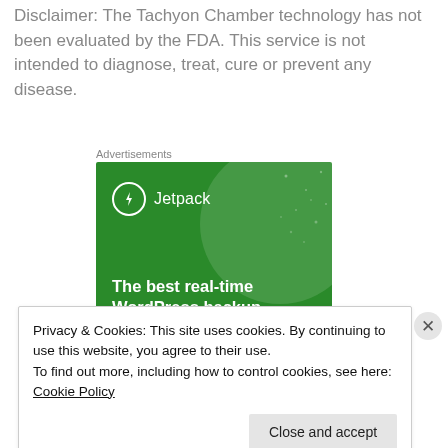Disclaimer: The Tachyon Chamber technology has not been evaluated by the FDA. This service is not intended to diagnose, treat, cure or prevent any disease.
Advertisements
[Figure (illustration): Jetpack advertisement banner with green background, circular design element, Jetpack logo with lightning bolt icon, and text 'The best real-time WordPress backup']
Privacy & Cookies: This site uses cookies. By continuing to use this website, you agree to their use.
To find out more, including how to control cookies, see here: Cookie Policy
Close and accept